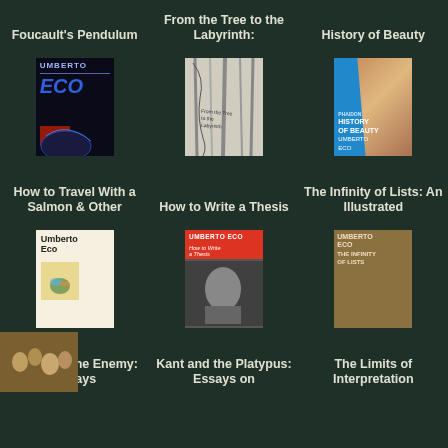Foucault's Pendulum
From the Tree to the Labyrinth:
History of Beauty
[Figure (photo): Book cover of Foucault's Pendulum by Umberto Eco - dark background with blue text]
[Figure (photo): Book cover of From the Tree to the Labyrinth - grey/white trees]
[Figure (photo): Book cover of History of Beauty by Umberto Eco - blue cover with Renaissance face]
How to Travel With a Salmon & Other
How to Write a Thesis
The Infinity of Lists: An Illustrated
[Figure (photo): Book cover of How to Travel With a Salmon - cream/white cover with Umberto Eco name]
[Figure (photo): Book cover of How to Write a Thesis - red top banner with black and white author photo]
[Figure (photo): Book cover of The Infinity of Lists - crowd scene]
Inventing the Enemy: Essays
Kant and the Platypus: Essays on
The Limits of Interpretation